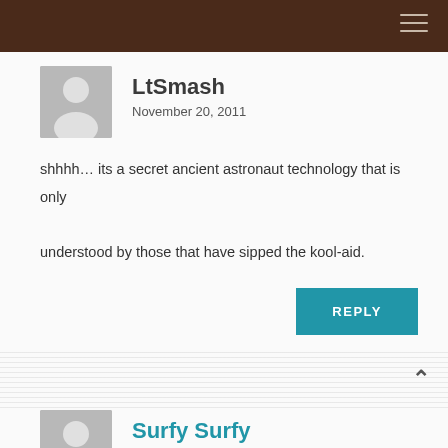LtSmash
November 20, 2011
shhhh… its a secret ancient astronaut technology that is only understood by those that have sipped the kool-aid.
REPLY
Surfy Surfy
November 20, 2011